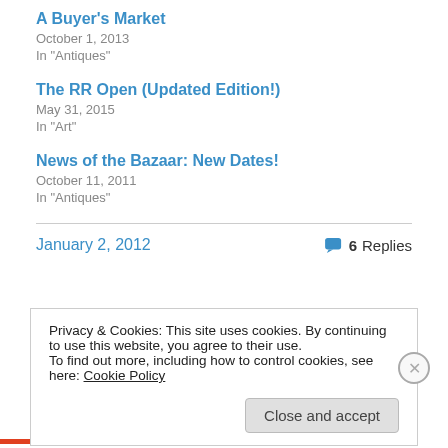A Buyer's Market
October 1, 2013
In "Antiques"
The RR Open (Updated Edition!)
May 31, 2015
In "Art"
News of the Bazaar: New Dates!
October 11, 2011
In "Antiques"
January 2, 2012
6 Replies
Privacy & Cookies: This site uses cookies. By continuing to use this website, you agree to their use.
To find out more, including how to control cookies, see here: Cookie Policy